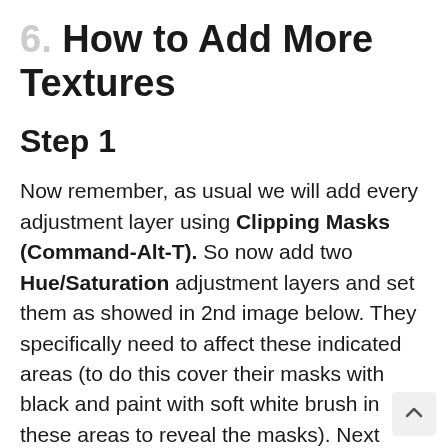6. How to Add More Textures
Step 1
Now remember, as usual we will add every adjustment layer using Clipping Masks (Command-Alt-T). So now add two Hue/Saturation adjustment layers and set them as showed in 2nd image below. They specifically need to affect these indicated areas (to do this cover their masks with black and paint with soft white brush in these areas to reveal the masks). Next again use the same texture that we used on O's letter face and to match it to the top that it sort of conne with the font (Overlay mode). If...